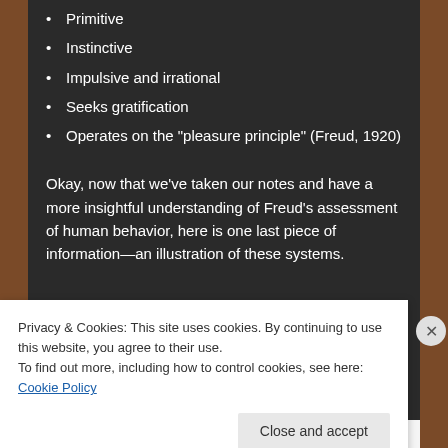Primitive
Instinctive
Impulsive and irrational
Seeks gratification
Operates on the "pleasure principle" (Freud, 1920)
Okay, now that we've taken our notes and have a more insightful understanding of Freud's assessment of human behavior, here is one last piece of information—an illustration of these systems.
Privacy & Cookies: This site uses cookies. By continuing to use this website, you agree to their use.
To find out more, including how to control cookies, see here: Cookie Policy
Close and accept